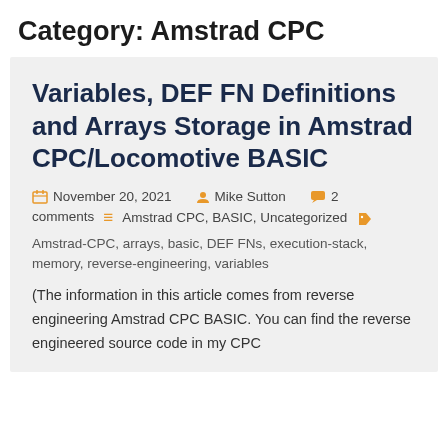Category: Amstrad CPC
Variables, DEF FN Definitions and Arrays Storage in Amstrad CPC/Locomotive BASIC
November 20, 2021  Mike Sutton  2 comments  Amstrad CPC, BASIC, Uncategorized  Amstrad-CPC, arrays, basic, DEF FNs, execution-stack, memory, reverse-engineering, variables
(The information in this article comes from reverse engineering Amstrad CPC BASIC. You can find the reverse engineered source code in my CPC